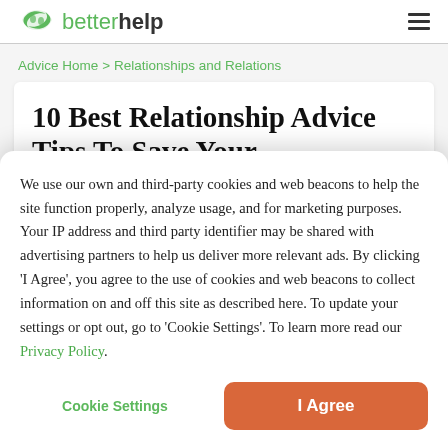betterhelp
Advice Home > Relationships and Relations
10 Best Relationship Advice Tips To Save Your
We use our own and third-party cookies and web beacons to help the site function properly, analyze usage, and for marketing purposes. Your IP address and third party identifier may be shared with advertising partners to help us deliver more relevant ads. By clicking 'I Agree', you agree to the use of cookies and web beacons to collect information on and off this site as described here. To update your settings or opt out, go to 'Cookie Settings'. To learn more read our Privacy Policy.
Cookie Settings
I Agree